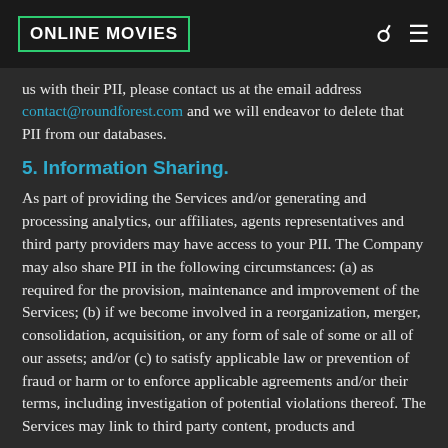ONLINE MOVIES
us with their PII, please contact us at the email address contact@roundforest.com and we will endeavor to delete that PII from our databases.
5. Information Sharing.
As part of providing the Services and/or generating and processing analytics, our affiliates, agents representatives and third party providers may have access to your PII. The Company may also share PII in the following circumstances: (a) as required for the provision, maintenance and improvement of the Services; (b) if we become involved in a reorganization, merger, consolidation, acquisition, or any form of sale of some or all of our assets; and/or (c) to satisfy applicable law or prevention of fraud or harm or to enforce applicable agreements and/or their terms, including investigation of potential violations thereof. The Services may link to third party content, products and